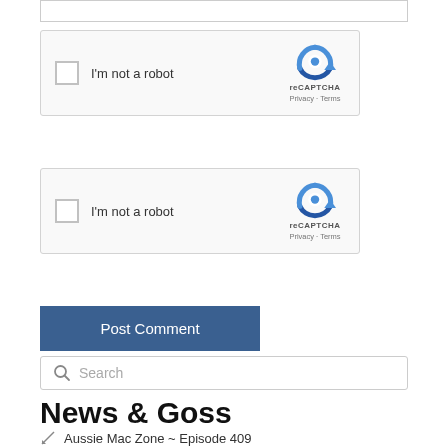[Figure (screenshot): Partial text input box at top of page]
[Figure (screenshot): reCAPTCHA widget 1: checkbox labeled 'I'm not a robot' with reCAPTCHA logo, Privacy and Terms links]
[Figure (screenshot): reCAPTCHA widget 2: checkbox labeled 'I'm not a robot' with reCAPTCHA logo, Privacy and Terms links]
[Figure (screenshot): 'Post Comment' button in dark blue]
[Figure (screenshot): Search input box with magnifying glass icon]
News & Goss
Aussie Mac Zone ~ Episode 409